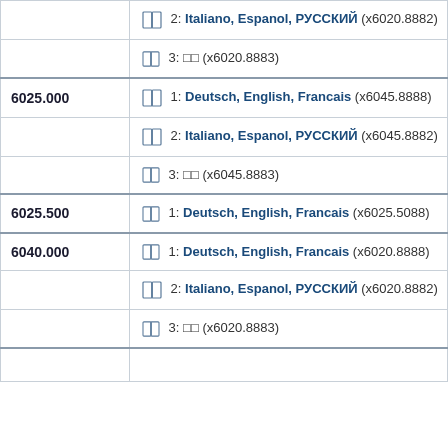| Number | Entry |
| --- | --- |
|  | 2: Italiano, Espanol, РУССКИЙ (x6020.8882) |
|  | 3: □□ (x6020.8883) |
| 6025.000 | 1: Deutsch, English, Francais (x6045.8888) |
|  | 2: Italiano, Espanol, РУССКИЙ (x6045.8882) |
|  | 3: □□ (x6045.8883) |
| 6025.500 | 1: Deutsch, English, Francais (x6025.5088) |
| 6040.000 | 1: Deutsch, English, Francais (x6020.8888) |
|  | 2: Italiano, Espanol, РУССКИЙ (x6020.8882) |
|  | 3: □□ (x6020.8883) |